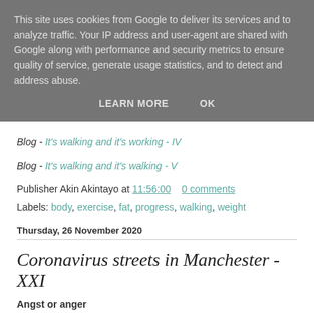This site uses cookies from Google to deliver its services and to analyze traffic. Your IP address and user-agent are shared with Google along with performance and security metrics to ensure quality of service, generate usage statistics, and to detect and address abuse.
LEARN MORE   OK
Blog - It's walking and it's working - IV
Blog - It's walking and it's walking - V
Publisher Akin Akintayo at 11:56:00   0 comments
Labels: body, exercise, fat, progress, walking, weight
Thursday, 26 November 2020
Coronavirus streets in Manchester - XXI
Angst or anger